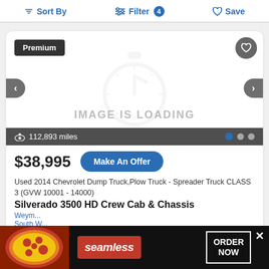Sort By   Filter 4   Save
[Figure (screenshot): Vehicle listing card showing 'IMAGE IS LOADING' placeholder with a stopwatch icon, Premium badge, favorite button, navigation arrows, 112,893 miles indicator, and image pagination dots]
$38,995
Make An Offer
Used 2014 Chevrolet Dump Truck,Plow Truck - Spreader Truck CLASS 3 (GVW 10001 - 14000)
Silverado 3500 HD Crew Cab & Chassis
Weym...
South W...
[Figure (screenshot): Seamless food delivery advertisement banner with pizza image on left, Seamless logo in center, ORDER NOW button on right, and X close button]